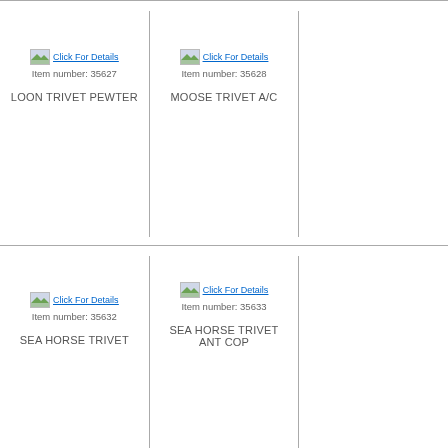[Figure (other): Click For Details icon with link for item 35627]
Item number: 35627
LOON TRIVET PEWTER
[Figure (other): Click For Details icon with link for item 35628]
Item number: 35628
MOOSE TRIVET A/C
[Figure (other): Click For Details icon with link for item 35632]
Item number: 35632
SEA HORSE TRIVET
[Figure (other): Click For Details icon with link for item 35633]
Item number: 35633
SEA HORSE TRIVET ANT COP